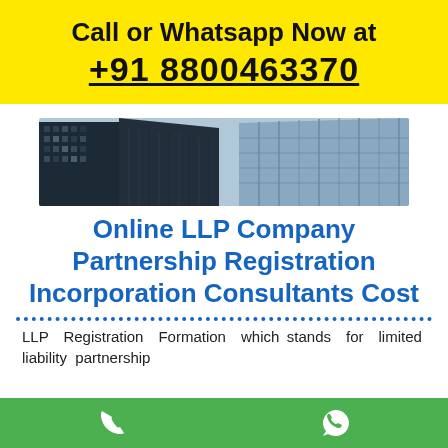Call or Whatsapp Now at +91 8800463370
[Figure (photo): Upward view of modern glass skyscrapers against a light sky]
Online LLP Company Partnership Registration Incorporation Consultants Cost
LLP Registration Formation which stands for limited liability partnership